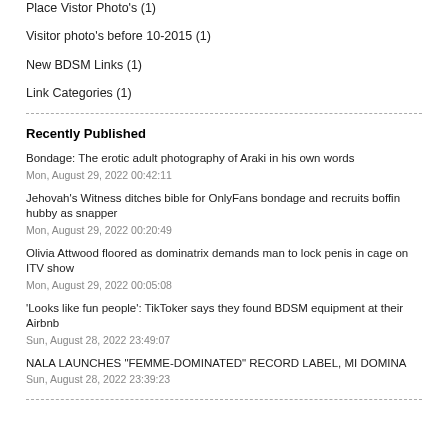Place Vistor Photo's (1)
Visitor photo's before 10-2015 (1)
New BDSM Links (1)
Link Categories (1)
Recently Published
Bondage: The erotic adult photography of Araki in his own words
Mon, August 29, 2022 00:42:11
Jehovah's Witness ditches bible for OnlyFans bondage and recruits boffin hubby as snapper
Mon, August 29, 2022 00:20:49
Olivia Attwood floored as dominatrix demands man to lock penis in cage on ITV show
Mon, August 29, 2022 00:05:08
'Looks like fun people': TikToker says they found BDSM equipment at their Airbnb
Sun, August 28, 2022 23:49:07
NALA LAUNCHES "FEMME-DOMINATED" RECORD LABEL, MI DOMINA
Sun, August 28, 2022 23:39:23